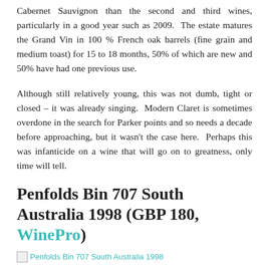Cabernet Sauvignon than the second and third wines, particularly in a good year such as 2009. The estate matures the Grand Vin in 100 % French oak barrels (fine grain and medium toast) for 15 to 18 months, 50% of which are new and 50% have had one previous use.
Although still relatively young, this was not dumb, tight or closed – it was already singing. Modern Claret is sometimes overdone in the search for Parker points and so needs a decade before approaching, but it wasn't the case here. Perhaps this was infanticide on a wine that will go on to greatness, only time will tell.
Penfolds Bin 707 South Australia 1998 (GBP 180, WinePro)
[Figure (photo): Broken image placeholder for Penfolds Bin 707 South Australia 1998]